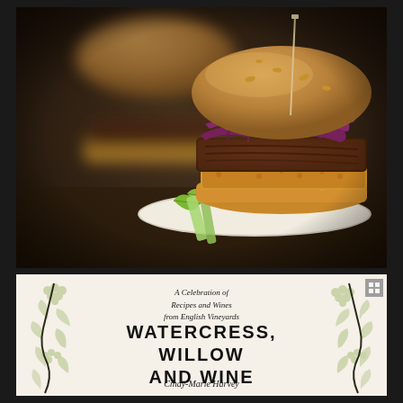[Figure (photo): Close-up food photograph of two gourmet burgers with toothpick skewers, topped with colorful coleslaw including purple cabbage and shredded carrots, served on buns with lime wedges on the side, dark moody background]
[Figure (illustration): Book cover for 'Watercress, Willow and Wine' by Cindy-Marie Harvey. Subtitle reads 'A Celebration of Recipes and Wines from English Vineyards'. Cover features decorative vine and grape leaf illustrations in sage green on cream/off-white background.]